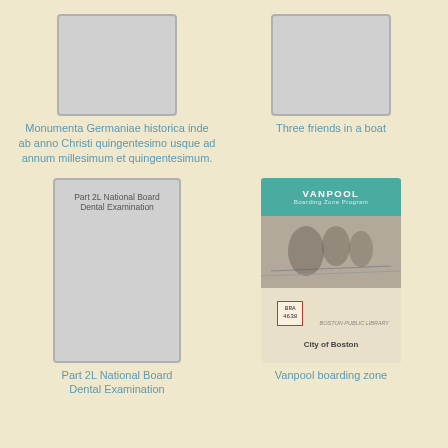[Figure (illustration): Gray placeholder book cover, top-left]
[Figure (illustration): Gray placeholder book cover, top-right]
Monumenta Germaniae historica inde ab anno Christi quingentesimo usque ad annum millesimum et quingentesimum.
Three friends in a boat
[Figure (illustration): Gray placeholder book cover with text: Part 2L National Board Dental Examination]
[Figure (photo): Vanpool Boarding Zone Program booklet cover, City of Boston]
Part 2L National Board Dental Examination
Vanpool boarding zone